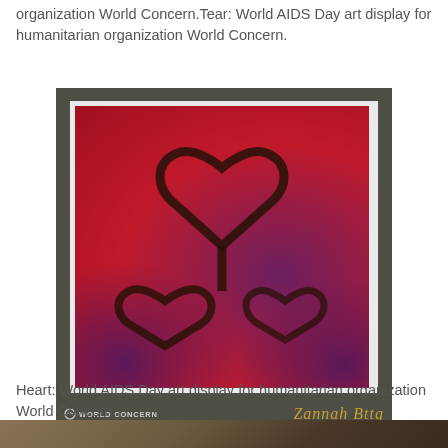organization World Concern.Tear: World AIDS Day art display for humanitarian organization World Concern.
[Figure (photo): Artwork showing a red textured painting with a large heart shape outlined in dark brown/black at the top, and two smaller heart-like shapes below, set against a red background with purple/violet accents. The artwork is matted with a white border and mounted in a dark olive/brown frame. 'WORLD CONCERN' logo appears in the bottom-left of the frame and a cursive signature appears in the bottom-right.]
Heart: World AIDS Day art display for humanitarian organization World Concern.